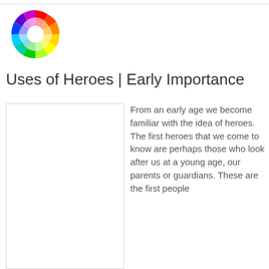[Figure (illustration): Color wheel / color spectrum ring showing rainbow spectrum arranged in a circular pattern with white center highlight]
Uses of Heroes | Early Importance
[Figure (photo): White/blank rectangular image placeholder with light border]
From an early age we become familiar with the idea of heroes. The first heroes that we come to know are perhaps those who look after us at a young age, our parents or guardians. These are the first people